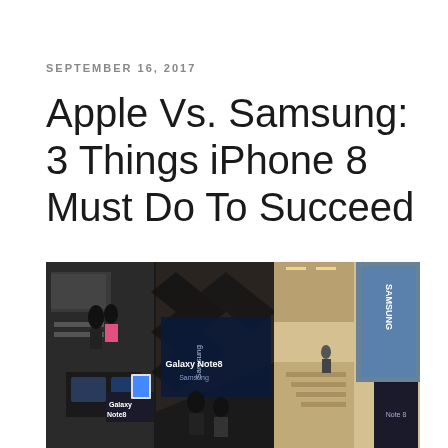SEPTEMBER 16, 2017
Apple Vs. Samsung: 3 Things iPhone 8 Must Do To Succeed
[Figure (photo): Photo of a Samsung Galaxy Note 8 retail store display, taken from an overhead/tilted angle showing Samsung branding, display tables with Galaxy Note8 products, and mall interior in background.]